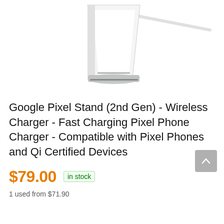[Figure (photo): Google Pixel Stand (2nd Gen) wireless charger product photo — white angular stand device with charging cable on white background, partially cropped at top]
Google Pixel Stand (2nd Gen) - Wireless Charger - Fast Charging Pixel Phone Charger - Compatible with Pixel Phones and Qi Certified Devices
$79.00  in stock
1 used from $71.90